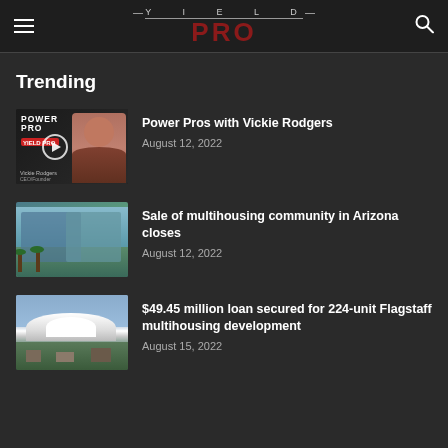YIELD PRO
Trending
[Figure (photo): Power Pro thumbnail with logo overlay and woman's portrait]
Power Pros with Vickie Rodgers
August 12, 2022
[Figure (photo): Multihousing community exterior with pool and palm trees]
Sale of multihousing community in Arizona closes
August 12, 2022
[Figure (photo): Mountain town aerial view with snow-capped peaks]
$49.45 million loan secured for 224-unit Flagstaff multihousing development
August 15, 2022